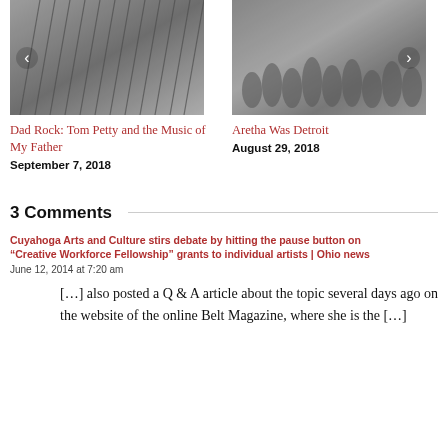[Figure (photo): Close-up photo of vinyl records filed vertically, seen from above at an angle, with blurred edges]
Dad Rock: Tom Petty and the Music of My Father
September 7, 2018
[Figure (photo): Vintage photo of a crowd of people marching or protesting in an urban setting, some holding signs]
Aretha Was Detroit
August 29, 2018
3 Comments
Cuyahoga Arts and Culture stirs debate by hitting the pause button on “Creative Workforce Fellowship” grants to individual artists | Ohio news
June 12, 2014 at 7:20 am
[…] also posted a Q & A article about the topic several days ago on the website of the online Belt Magazine, where she is the […]